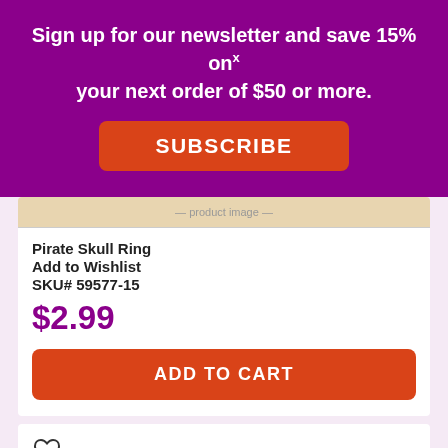Sign up for our newsletter and save 15% on your next order of $50 or more.
SUBSCRIBE
Pirate Skull Ring
Add to Wishlist
SKU# 59577-15
$2.99
ADD TO CART
[Figure (screenshot): Partial product image of pirate skull ring at top of card]
[Figure (screenshot): Second product card showing heart/wishlist icon and partial product image at bottom of page]
[Figure (other): Google reCAPTCHA badge with logo, Privacy and Terms links]